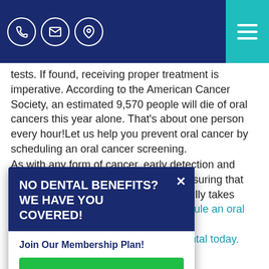Navigation header with phone, email, location icons and hamburger menu
tests. If found, receiving proper treatment is imperative. According to the American Cancer Society, an estimated 9,570 people will die of oral cancers this year alone. That’s about one person every hour!Let us help you prevent oral cancer by scheduling an oral cancer screening.
As with any form of cancer, early detection and treatment plays an essential role in ensuring that oral cancer can be stopped before it fully takes hold. For more information or to schedule an oral cancer screening, contact Aberdeen Area Dental today.
[Figure (screenshot): Popup modal: dark blue header with 'NO DENTAL BENEFITS? WE HAVE YOU COVERED!' in bold white text, X close button, white body with 'Join Our Membership Plan!' in dark blue bold, and a green 'LEARN MORE' button.]
Dentistry, Uncategorized and Aberdeen MD dentist, Dentist in Aberdeen, dentist in Aberdeen MD.